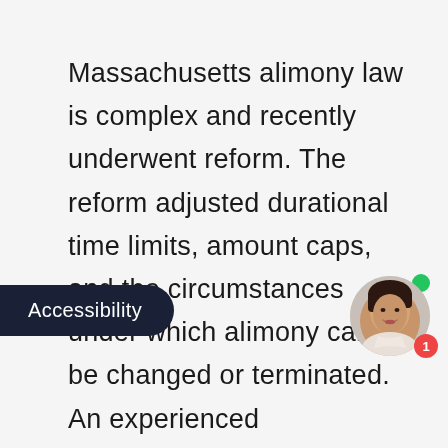Massachusetts alimony law is complex and recently underwent reform. The reform adjusted durational time limits, amount caps, and the circumstances under which alimony can be changed or terminated. An experienced Massachusetts divorce mediator can assist you with determining your alimony options. You might need help negotiating an agreement with e. Working with a divorce an provide both the information and guidance needed to do